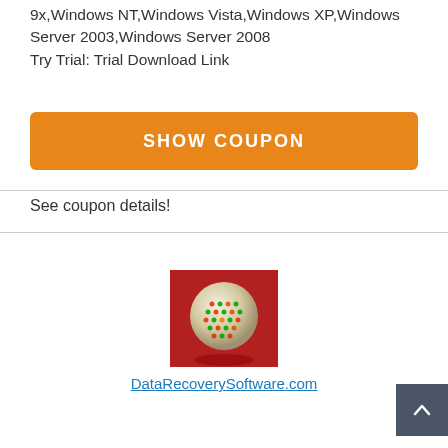9x,Windows NT,Windows Vista,Windows XP,Windows Server 2003,Windows Server 2008
Try Trial: Trial Download Link
SHOW COUPON
See coupon details!
[Figure (photo): Logo image for DataRecoverySoftware.com showing a white/cream colored sphere with colorful dot pattern on a red background]
DataRecoverySoftware.com
40% Digit...